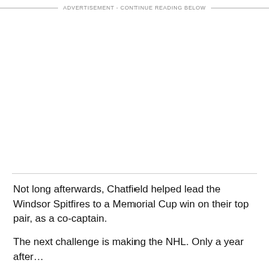ADVERTISEMENT - CONTINUE READING BELOW
Not long afterwards, Chatfield helped lead the Windsor Spitfires to a Memorial Cup win on their top pair, as a co-captain.
The next challenge is making the NHL. Only a year after…